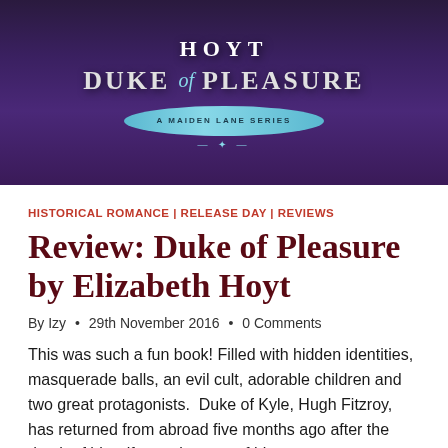[Figure (illustration): Book cover for 'Duke of Pleasure' by Elizabeth Hoyt. Dark purple/indigo background with the author name 'HOYT' at top, then 'DUKE of PLEASURE' in large text, with a teal/cyan oval subtitle banner and decorative elements below.]
HISTORICAL ROMANCE | RELEASE DAY | REVIEWS
Review: Duke of Pleasure by Elizabeth Hoyt
By Izy • 29th November 2016 • 0 Comments
This was such a fun book! Filled with hidden identities, masquerade balls, an evil cult, adorable children and two great protagonists.  Duke of Kyle, Hugh Fitzroy, has returned from abroad five months ago after the death of his wife to take care of his